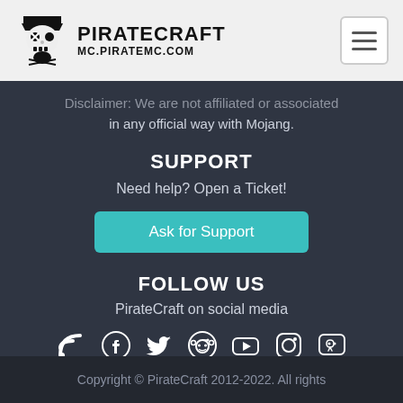[Figure (logo): PirateCraft logo with pirate skull icon and text PIRATECRAFT MC.PIRATEMC.COM]
Disclaimer: We are not affiliated or associated in any official way with Mojang.
SUPPORT
Need help? Open a Ticket!
Ask for Support
FOLLOW US
PirateCraft on social media
[Figure (infographic): Social media icons: RSS, Facebook, Twitter, Reddit, YouTube, Instagram, Discord]
Copyright © PirateCraft 2012-2022. All rights